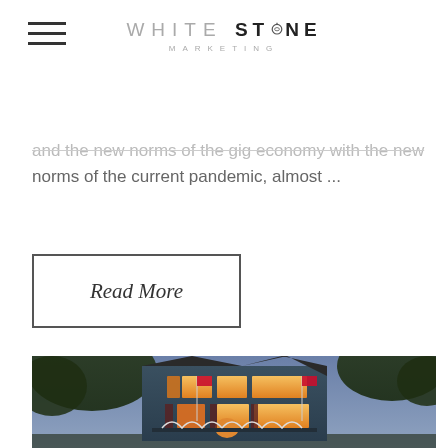WHITE STONE MARKETING
and the new norms of the current pandemic, almost ...
Read More
[Figure (photo): A two-story Victorian-style house photographed at dusk with warm glowing lights from the windows, surrounded by trees, with American flags visible on the facade and ornate porch details.]